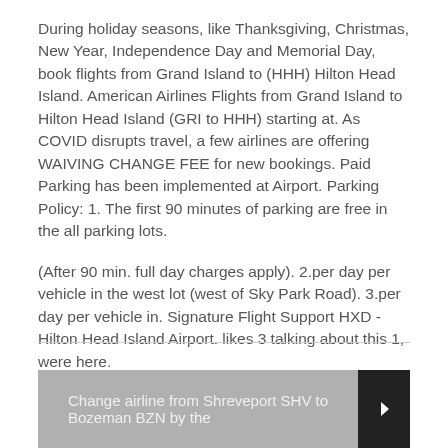During holiday seasons, like Thanksgiving, Christmas, New Year, Independence Day and Memorial Day, book flights from Grand Island to (HHH) Hilton Head Island. American Airlines Flights from Grand Island to Hilton Head Island (GRI to HHH) starting at. As COVID disrupts travel, a few airlines are offering WAIVING CHANGE FEE for new bookings. Paid Parking has been implemented at Airport. Parking Policy: 1. The first 90 minutes of parking are free in the all parking lots.
(After 90 min. full day charges apply). 2.per day per vehicle in the west lot (west of Sky Park Road). 3.per day per vehicle in. Signature Flight Support HXD - Hilton Head Island Airport. likes 3 talking about this 1, were here.
Airport.
Change airline from Shreveport SHV to Bozeman BZN by the